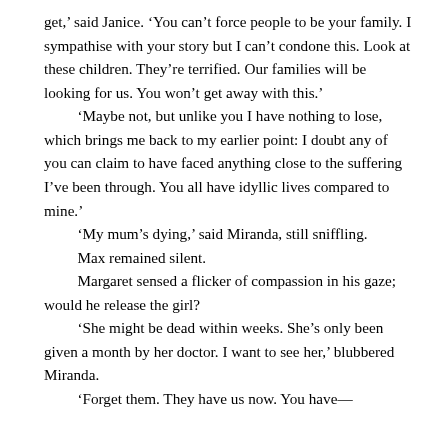get,' said Janice. 'You can't force people to be your family. I sympathise with your story but I can't condone this. Look at these children. They're terrified. Our families will be looking for us. You won't get away with this.'

'Maybe not, but unlike you I have nothing to lose, which brings me back to my earlier point: I doubt any of you can claim to have faced anything close to the suffering I've been through. You all have idyllic lives compared to mine.'

'My mum's dying,' said Miranda, still sniffling.

Max remained silent.

Margaret sensed a flicker of compassion in his gaze; would he release the girl?

'She might be dead within weeks. She's only been given a month by her doctor. I want to see her,' blubbered Miranda.

'Forget them. They have us now. You have—